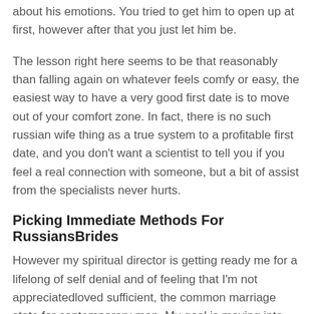about his emotions. You tried to get him to open up at first, however after that you just let him be.
The lesson right here seems to be that reasonably than falling again on whatever feels comfy or easy, the easiest way to have a very good first date is to move out of your comfort zone. In fact, there is no such russian wife thing as a true system to a profitable first date, and you don't want a scientist to tell you if you feel a real connection with someone, but a bit of assist from the specialists never hurts.
Picking Immediate Methods For RussiansBrides
However my spiritual director is getting ready me for a lifelong of self denial and of feeling that I'm not appreciatedloved sufficient, the common marriage state for contemporary man. My goal is moving into heaven and that only relies russian wife on me sticking one hundred% to what's true and good on every